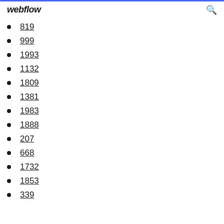webflow
819
999
1993
1132
1809
1381
1983
1888
207
668
1732
1853
339